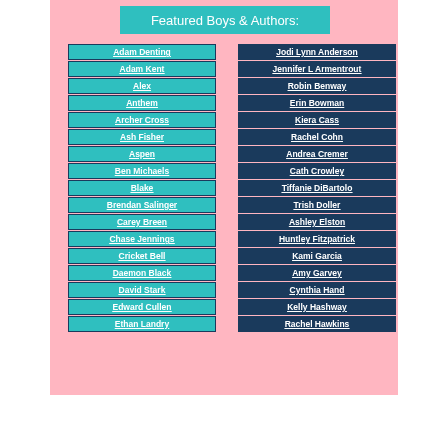Featured Boys & Authors:
Adam Denting
Adam Kent
Alex
Anthem
Archer Cross
Ash Fisher
Aspen
Ben Michaels
Blake
Brendan Salinger
Carey Breen
Chase Jennings
Cricket Bell
Daemon Black
David Stark
Edward Cullen
Ethan Landry
Jodi Lynn Anderson
Jennifer L Armentrout
Robin Benway
Erin Bowman
Kiera Cass
Rachel Cohn
Andrea Cremer
Cath Crowley
Tiffanie DiBartolo
Trish Doller
Ashley Elston
Huntley Fitzpatrick
Kami Garcia
Amy Garvey
Cynthia Hand
Kelly Hashway
Rachel Hawkins